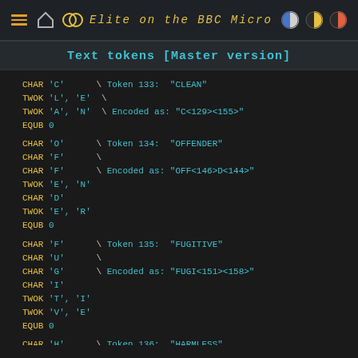Elite on the BBC Micro
Text tokens [Master version]
CHAR 'C'  \ Token 133: "CLEAN"
TWOK 'L', 'E'  \
TWOK 'A', 'N'  \ Encoded as: "C<129><155>"
EQUB 0
CHAR 'O'  \ Token 134: "OFFENDER"
CHAR 'F'  \
CHAR 'F'  \ Encoded as: "OFF<146>D<144>"
TWOK 'E', 'N'
CHAR 'D'
TWOK 'E', 'R'
EQUB 0
CHAR 'F'  \ Token 135: "FUGITIVE"
CHAR 'U'  \
CHAR 'G'  \ Encoded as: "FUGI<151><158>"
CHAR 'I'
TWOK 'T', 'I'
TWOK 'V', 'E'
EQUB 0
CHAR 'H'  \ Token 136: "HARMLESS"
TWOK 'A', 'R'  \
CHAR 'M'  \ Encoded as: "H<138>M<129>SS"